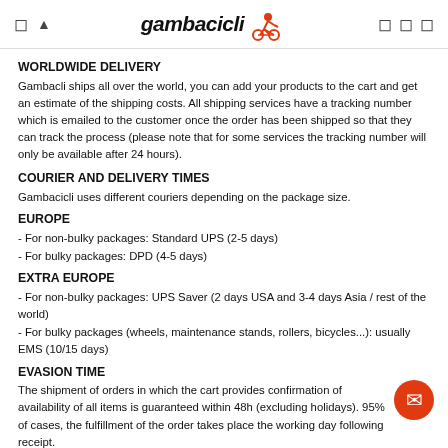gambacicli [logo with cyclist icon]
WORLDWIDE DELIVERY
Gambacli ships all over the world, you can add your products to the cart and get an estimate of the shipping costs. All shipping services have a tracking number which is emailed to the customer once the order has been shipped so that they can track the process (please note that for some services the tracking number will only be available after 24 hours).
COURIER AND DELIVERY TIMES
Gambacicli uses different couriers depending on the package size.
EUROPE
- For non-bulky packages: Standard UPS (2-5 days)
- For bulky packages: DPD (4-5 days)
EXTRA EUROPE
- For non-bulky packages: UPS Saver (2 days USA and 3-4 days Asia / rest of the world)
- For bulky packages (wheels, maintenance stands, rollers, bicycles...): usually EMS (10/15 days)
EVASION TIME
The shipment of orders in which the cart provides confirmation of availability of all items is guaranteed within 48h (excluding holidays). 95% of cases, the fulfillment of the order takes place the working day following receipt.